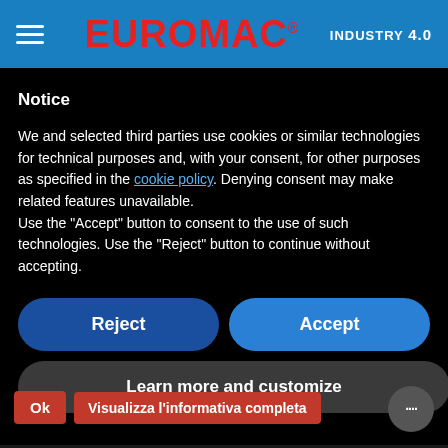EUROMAC® INDUSTRY 4.0
Notice
We and selected third parties use cookies or similar technologies for technical purposes and, with your consent, for other purposes as specified in the cookie policy. Denying consent may make related features unavailable.
Use the “Accept” button to consent to the use of such technologies. Use the “Reject” button to continue without accepting.
Reject
Accept
Learn more and customize
Ok
Visualizza l’informativa completa